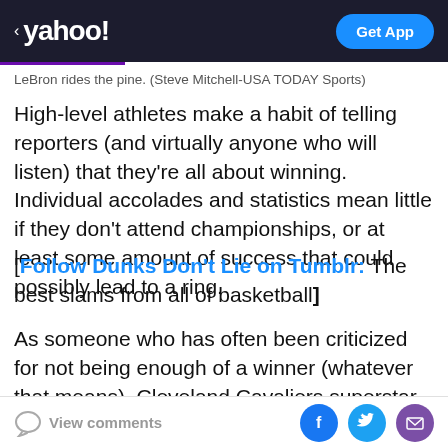< yahoo!   Get App
LeBron rides the pine. (Steve Mitchell-USA TODAY Sports)
High-level athletes make a habit of telling reporters (and virtually anyone who will listen) that they're all about winning. Individual accolades and statistics mean little if they don't attend championships, or at least some amount of success that could possibly lead to a ring.
[Follow Dunks Don't Lie on Tumblr: The best slams from all of basketball]
As someone who has often been criticized for not being enough of a winner (whatever that means), Cleveland Cavaliers superstar LeBron James has spent plenty of time of forming the public that he is a fact from a long
View comments